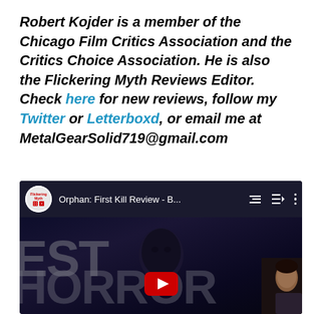Robert Kojder is a member of the Chicago Film Critics Association and the Critics Choice Association. He is also the Flickering Myth Reviews Editor. Check here for new reviews, follow my Twitter or Letterboxd, or email me at MetalGearSolid719@gmail.com
[Figure (screenshot): YouTube video embed showing 'Orphan: First Kill Review - B...' with a dark thumbnail featuring large grey text 'EST' and partial text at bottom, a face in center, YouTube play button, and a person visible at bottom right. Channel icon shows Flickering Myth logo.]